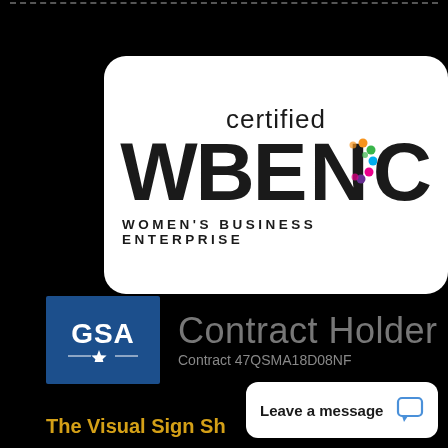[Figure (logo): WBENC Certified Women's Business Enterprise badge - white rounded rectangle on black background with 'certified WBENC' text and colorful dot logo mark, 'WOMEN'S BUSINESS ENTERPRISE' below]
[Figure (logo): GSA Contract Holder logo - blue GSA square logo on left, 'Contract Holder' in gray text on right with contract number 47QSMA18D08NF below]
The Visual Sign Sh...
Leave a message